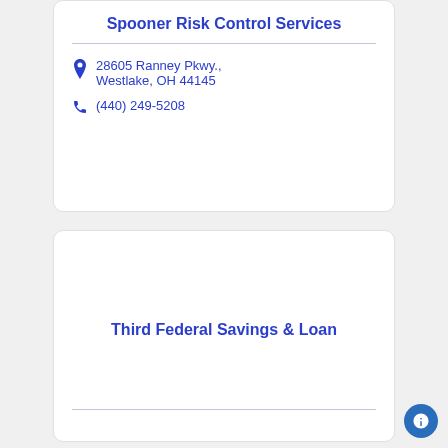Spooner Risk Control Services
28605 Ranney Pkwy., Westlake, OH 44145
(440) 249-5208
Third Federal Savings & Loan